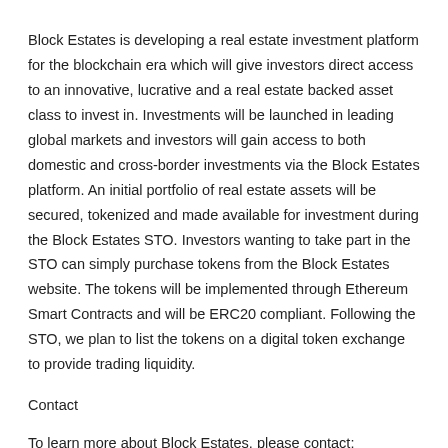Block Estates is developing a real estate investment platform for the blockchain era which will give investors direct access to an innovative, lucrative and a real estate backed asset class to invest in. Investments will be launched in leading global markets and investors will gain access to both domestic and cross-border investments via the Block Estates platform. An initial portfolio of real estate assets will be secured, tokenized and made available for investment during the Block Estates STO. Investors wanting to take part in the STO can simply purchase tokens from the Block Estates website. The tokens will be implemented through Ethereum Smart Contracts and will be ERC20 compliant. Following the STO, we plan to list the tokens on a digital token exchange to provide trading liquidity.
Contact
To learn more about Block Estates, please contact: